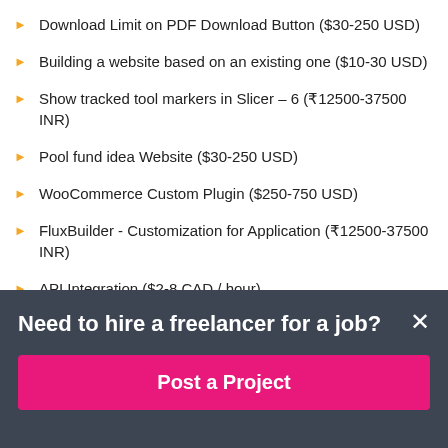Download Limit on PDF Download Button ($30-250 USD)
Building a website based on an existing one ($10-30 USD)
Show tracked tool markers in Slicer – 6 (₹12500-37500 INR)
Pool fund idea Website ($30-250 USD)
WooCommerce Custom Plugin ($250-750 USD)
FluxBuilder - Customization for Application (₹12500-37500 INR)
API Integration ($2-8 CAD / hour)
Need to hire a freelancer for a job?
Post a Project